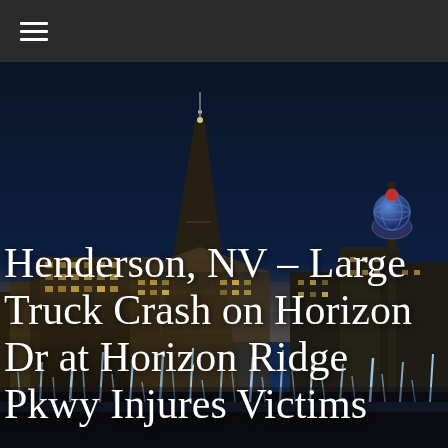≡
[Figure (photo): Nighttime Las Vegas skyline cityscape with illuminated buildings, the Eiffel Tower replica at Paris Las Vegas, the Stratosphere tower, and a fountain in the foreground, serving as a hero background image]
Henderson, NV – Large Truck Crash on Horizon Dr at Horizon Ridge Pkwy Injures Victims